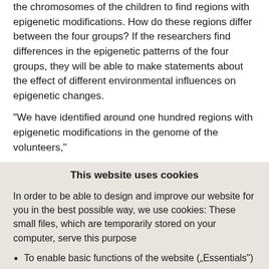the chromosomes of the children to find regions with epigenetic modifications. How do these regions differ between the four groups? If the researchers find differences in the epigenetic patterns of the four groups, they will be able to make statements about the effect of different environmental influences on epigenetic changes.
“We have identified around one hundred regions with epigenetic modifications in the genome of the volunteers,”
This website uses cookies
In order to be able to design and improve our website for you in the best possible way, we use cookies: These small files, which are temporarily stored on your computer, serve this purpose
To enable basic functions of the website („Essentials“)
Make available third-party elements integrated into the website such as YouTube videos or Google Maps navigation („third-party cookies“)
To operate statistical and tracking tools to understand how site visitors use the site and to implement